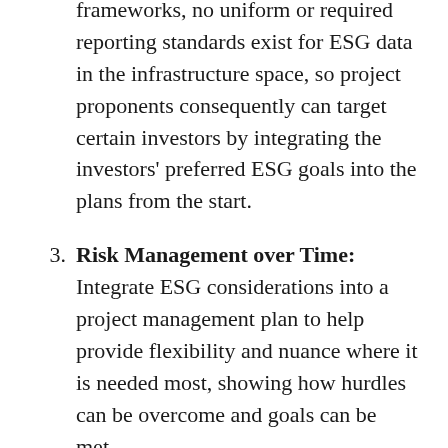frameworks, no uniform or required reporting standards exist for ESG data in the infrastructure space, so project proponents consequently can target certain investors by integrating the investors' preferred ESG goals into the plans from the start.
Risk Management over Time: Integrate ESG considerations into a project management plan to help provide flexibility and nuance where it is needed most, showing how hurdles can be overcome and goals can be met.
Infrastructure projects in direct...